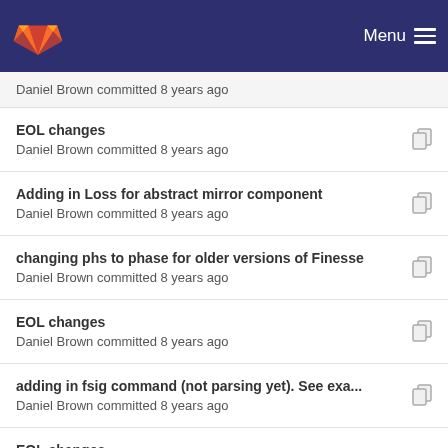GitLab — Menu
Daniel Brown committed 8 years ago
EOL changes
Daniel Brown committed 8 years ago
Adding in Loss for abstract mirror component
Daniel Brown committed 8 years ago
changing phs to phase for older versions of Finesse
Daniel Brown committed 8 years ago
EOL changes
Daniel Brown committed 8 years ago
adding in fsig command (not parsing yet). See exa...
Daniel Brown committed 8 years ago
EOL changes
Daniel Brown committed 8 years ago
fixes for mirror/bs components